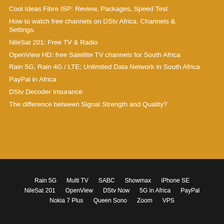Cool Ideas Fibre ISP: Review, Packages, Speed Test
How to watch free channels on DStv Africa. Channels & Settings.
NileSat 201: Free TV & Radio
OpenView HD: free Satellite TV channels for South Africa
Rain 5G, Rain 4G / LTE; Unlimited Data Network in South Africa
PayPal in Africa
DStv Decoder Insurance
The difference between Signal Strength and Quality?
Rain 5G  Multi TV  SABC  Showmax  iPhone SE  NileSat 201  OpenView  DStv Now  5G in Africa  PayPal  Nokia 7 Plus  Queen Sono  Zoom  VPS